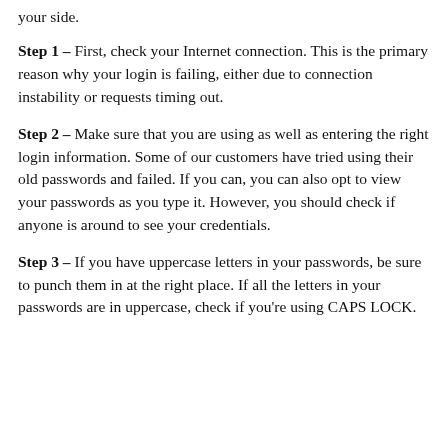your side.
Step 1 – First, check your Internet connection. This is the primary reason why your login is failing, either due to connection instability or requests timing out.
Step 2 – Make sure that you are using as well as entering the right login information. Some of our customers have tried using their old passwords and failed. If you can, you can also opt to view your passwords as you type it. However, you should check if anyone is around to see your credentials.
Step 3 – If you have uppercase letters in your passwords, be sure to punch them in at the right place. If all the letters in your passwords are in uppercase, check if you're using CAPS LOCK.